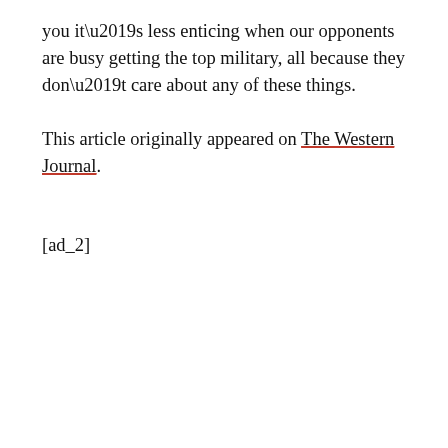you it’s less enticing when our opponents are busy getting the top military, all because they don’t care about any of these things.
This article originally appeared on The Western Journal.
[ad_2]